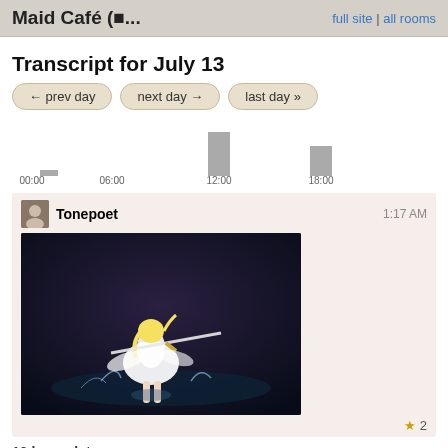Maid Café (⬛... | full site | all rooms
Transcript for July 13
← prev day
next day →
last day »
[Figure (bar-chart): Activity chart]
Tonepoet   1:17 AM
[Figure (illustration): Anime character in white dress wielding a sword, standing on water with splashes]
★ 2
12 hours later...
ahiijny   1:18 PM
apropos of nothing, some yuri fanfic recs!
- Her Heartbeat (Lucky Star): Yutaka x Misao oneshot. Rare ship, but really hard-hitting story. Oof.
- A to be in Today: Mo... Rei... to... Prin... to hit light in... Mo...